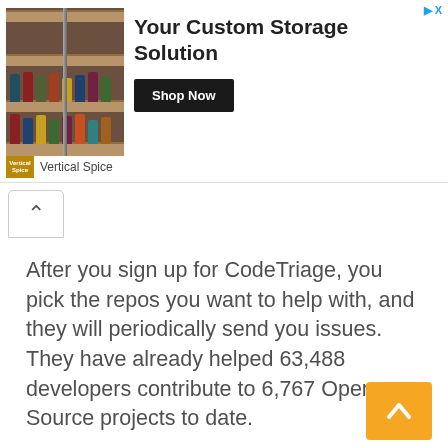[Figure (photo): Advertisement banner for Vertical Spice with image of spice rack shelving product, text 'Your Custom Storage Solution', 'Shop Now' button, and Vertical Spice logo.]
After you sign up for CodeTriage, you pick the repos you want to help with, and they will periodically send you issues. They have already helped 63,488 developers contribute to 6,767 Open Source projects to date.
[Figure (illustration): Pixel art red heart icon]
[Figure (illustration): Pixel art golden trophy/lightbulb icon]
[Figure (other): Orange scroll-to-top button with upward arrow chevron]